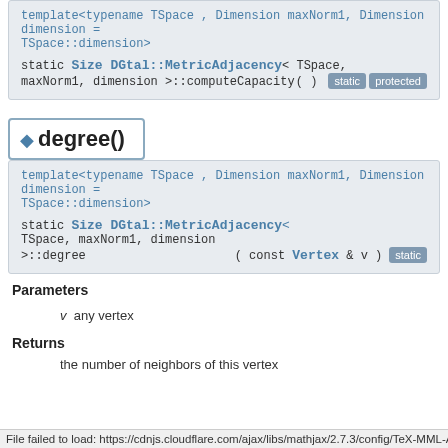template<typename TSpace , Dimension maxNorm1, Dimension dimension = TSpace::dimension>
static Size DGtal::MetricAdjacency< TSpace, maxNorm1, dimension >::computeCapacity ( ) [static] [protected]
degree()
template<typename TSpace , Dimension maxNorm1, Dimension dimension = TSpace::dimension>
static Size DGtal::MetricAdjacency< TSpace, maxNorm1, dimension >::degree ( const Vertex & v ) [static]
Parameters
v  any vertex
Returns
the number of neighbors of this vertex
File failed to load: https://cdnjs.cloudflare.com/ajax/libs/mathjax/2.7.3/config/TeX-MML-AM